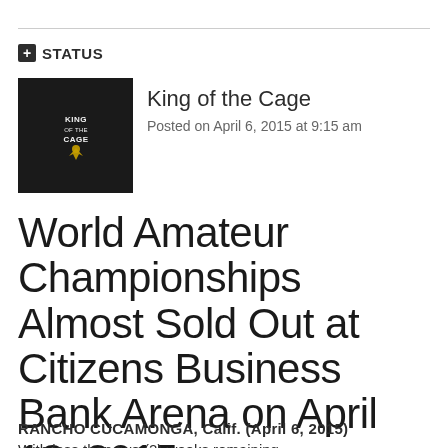STATUS
King of the Cage
Posted on April 6, 2015 at 9:15 am
World Amateur Championships Almost Sold Out at Citizens Business Bank Arena on April 18, 2015
RANCHO CUCAMONGA, Calif. (April 6, 2015) With less than two (2) weeks remaining